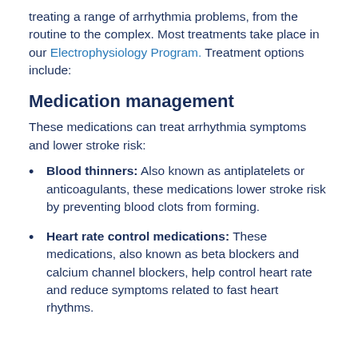treating a range of arrhythmia problems, from the routine to the complex. Most treatments take place in our Electrophysiology Program. Treatment options include:
Medication management
These medications can treat arrhythmia symptoms and lower stroke risk:
Blood thinners: Also known as antiplatelets or anticoagulants, these medications lower stroke risk by preventing blood clots from forming.
Heart rate control medications: These medications, also known as beta blockers and calcium channel blockers, help control heart rate and reduce symptoms related to fast heart rhythms.